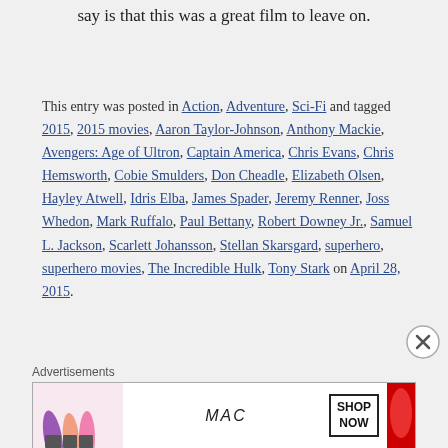say is that this was a great film to leave on.
This entry was posted in Action, Adventure, Sci-Fi and tagged 2015, 2015 movies, Aaron Taylor-Johnson, Anthony Mackie, Avengers: Age of Ultron, Captain America, Chris Evans, Chris Hemsworth, Cobie Smulders, Don Cheadle, Elizabeth Olsen, Hayley Atwell, Idris Elba, James Spader, Jeremy Renner, Joss Whedon, Mark Ruffalo, Paul Bettany, Robert Downey Jr., Samuel L. Jackson, Scarlett Johansson, Stellan Skarsgard, superhero, superhero movies, The Incredible Hulk, Tony Stark on April 28, 2015.
[Figure (other): Close/dismiss button (X in circle)]
Advertisements
[Figure (other): MAC cosmetics advertisement banner showing lipsticks with MAC logo and SHOP NOW button]